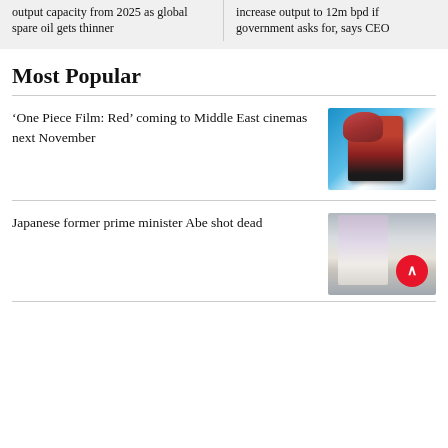output capacity from 2025 as global spare oil gets thinner
increase output to 12m bpd if government asks for, says CEO
Most Popular
‘One Piece Film: Red’ coming to Middle East cinemas next November
[Figure (photo): Anime illustration from One Piece Film: Red showing a character with red hair]
Japanese former prime minister Abe shot dead
[Figure (photo): News photo showing people in the aftermath of the shooting of Japanese former prime minister Abe]